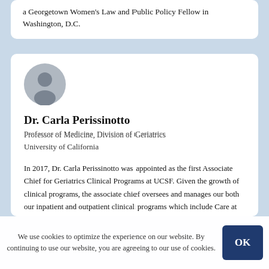a Georgetown Women's Law and Public Policy Fellow in Washington, D.C.
Dr. Carla Perissinotto
Professor of Medicine, Division of Geriatrics
University of California
In 2017, Dr. Carla Perissinotto was appointed as the first Associate Chief for Geriatrics Clinical Programs at UCSF. Given the growth of clinical programs, the associate chief oversees and manages our both our inpatient and outpatient clinical programs which include Care at Home, Geriatrics consultation in long-term care settings and the care home...
We use cookies to optimize the experience on our website. By continuing to use our website, you are agreeing to our use of cookies.